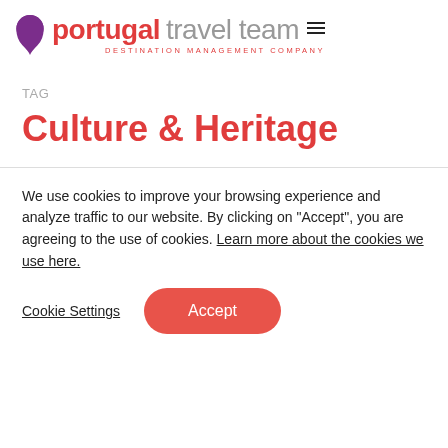[Figure (logo): Portugal Travel Team logo with purple map pin icon, red 'portugal' text, gray 'travel team' text, and red 'DESTINATION MANAGEMENT COMPANY' subtitle]
TAG
Culture & Heritage
We use cookies to improve your browsing experience and analyze traffic to our website. By clicking on "Accept", you are agreeing to the use of cookies. Learn more about the cookies we use here.
Cookie Settings  Accept